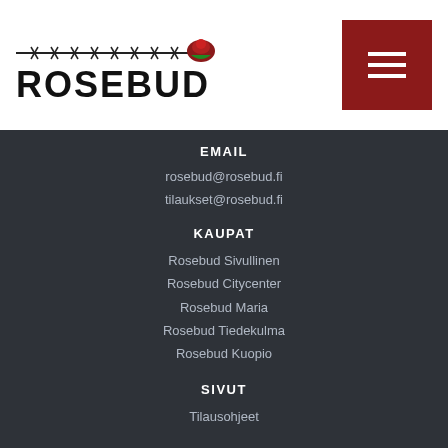[Figure (logo): Rosebud logo with barbed wire graphic above bold text ROSEBUD]
EMAIL
rosebud@rosebud.fi
tilaukset@rosebud.fi
KAUPAT
Rosebud Sivullinen
Rosebud Citycenter
Rosebud Maria
Rosebud Tiedekulma
Rosebud Kuopio
SIVUT
Tilausohjeet